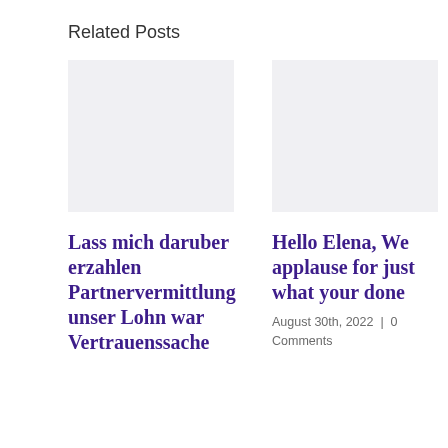Related Posts
[Figure (photo): Placeholder image for first related post]
Lass mich daruber erzahlen Partnervermittlung unser Lohn war Vertrauenssache
[Figure (photo): Placeholder image for second related post]
Hello Elena, We applause for just what your done
August 30th, 2022 | 0 Comments